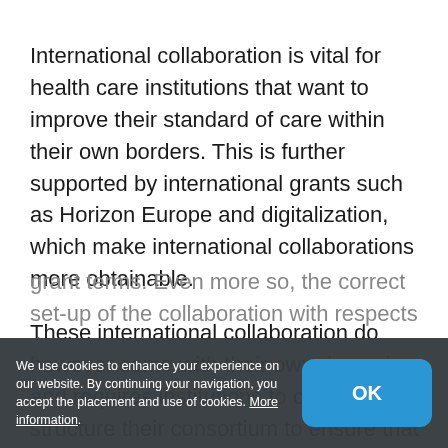International collaboration is vital for health care institutions that want to improve their standard of care within their own borders. This is further supported by international grants such as Horizon Europe and digitalization, which make international collaborations more obtainable.
These international collaboration do however come with their own dynamic and requires institutions to carefully structure their consortium to ensure that they meet relevant grant terms. Even more so, the correct set-up of the collaboration with respects the any project.
We use cookies to enhance your experience on our website. By continuing your navigation, you accept the placement and use of cookies. More information.